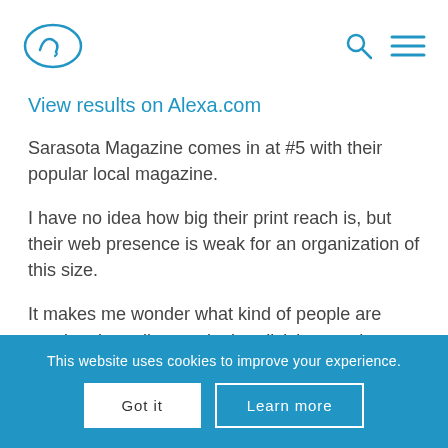[Figure (logo): Alexa logo — oval shape with a small bird-like icon in blue outline]
[Figure (other): Search icon (magnifying glass) and hamburger menu icon in blue]
View results on Alexa.com
Sarasota Magazine comes in at #5 with their popular local magazine.
I have no idea how big their print reach is, but their web presence is weak for an organization of this size.
It makes me wonder what kind of people are running the online marketing divisions at these
This website uses cookies to improve your experience.
Got it
Learn more